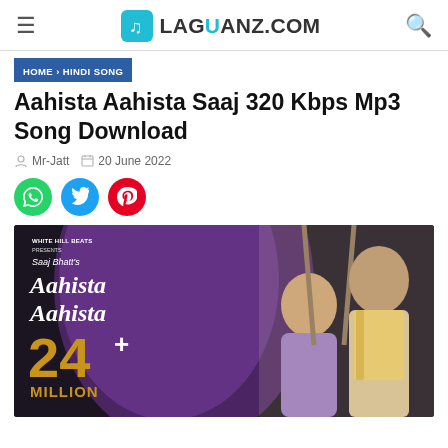LAGUANZ.COM
HOME > HINDI SONG
Aahista Aahista Saaj 320 Kbps Mp3 Song Download
Mr-Jatt   20 June 2022
[Figure (screenshot): Movie thumbnail for Aahista Aahista by Saaj Bhatt - White Hill Beats, showing 24+ Million views, with two people on a swing]
WHITE HILL BEATS PRESENTS Saaj Bhatt's Aahista Aahista 24+ MILLION